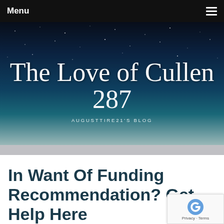Menu
[Figure (screenshot): Blog header banner with dark starry night sky background. Title reads 'The Love of Cullen 287' in cursive white font, with subtitle 'AUGUSTTIRE21'S BLOG' in small spaced capital letters below.]
In Want Of Funding Recommendation? Get Help Here